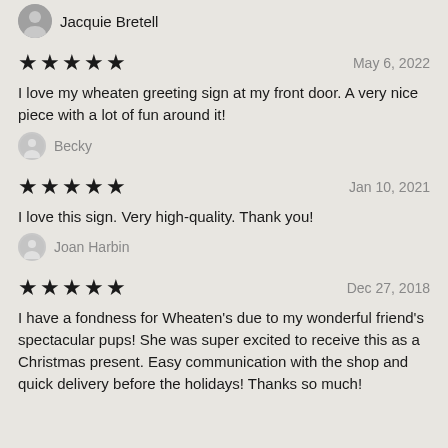Jacquie Bretell
★★★★★   May 6, 2022
I love my wheaten greeting sign at my front door. A very nice piece with a lot of fun around it!
Becky
★★★★★   Jan 10, 2021
I love this sign. Very high-quality. Thank you!
Joan Harbin
★★★★★   Dec 27, 2018
I have a fondness for Wheaten's due to my wonderful friend's spectacular pups! She was super excited to receive this as a Christmas present. Easy communication with the shop and quick delivery before the holidays! Thanks so much!